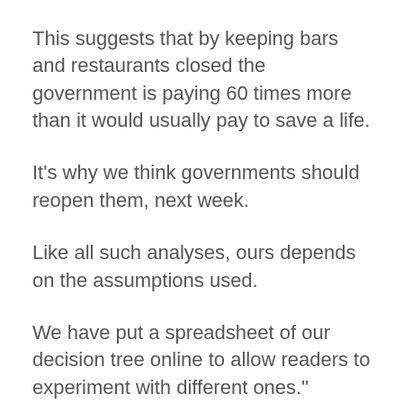This suggests that by keeping bars and restaurants closed the government is paying 60 times more than it would usually pay to save a life.
It's why we think governments should reopen them, next week.
Like all such analyses, ours depends on the assumptions used.
We have put a spreadsheet of our decision tree online to allow readers to experiment with different ones." https://theconversation.com/should-we-re-open-pubs-next-week-the-benefits-seem-to-exceed-the-costs-137609